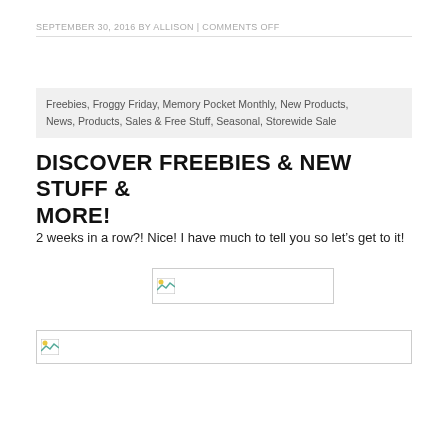SEPTEMBER 30, 2016 BY ALLISON | COMMENTS OFF
Freebies, Froggy Friday, Memory Pocket Monthly, New Products, News, Products, Sales & Free Stuff, Seasonal, Storewide Sale
DISCOVER FREEBIES & NEW STUFF & MORE!
2 weeks in a row?! Nice! I have much to tell you so let’s get to it!
[Figure (photo): Broken/unloaded image placeholder (small, centered-right area)]
[Figure (photo): Broken/unloaded image placeholder (full width area)]